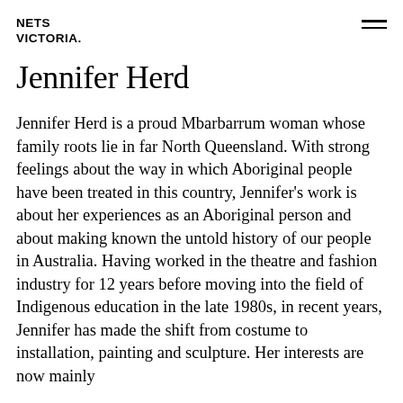NETS VICTORIA.
Jennifer Herd
Jennifer Herd is a proud Mbarbarrum woman whose family roots lie in far North Queensland. With strong feelings about the way in which Aboriginal people have been treated in this country, Jennifer's work is about her experiences as an Aboriginal person and about making known the untold history of our people in Australia. Having worked in the theatre and fashion industry for 12 years before moving into the field of Indigenous education in the late 1980s, in recent years, Jennifer has made the shift from costume to installation, painting and sculpture. Her interests are now mainly